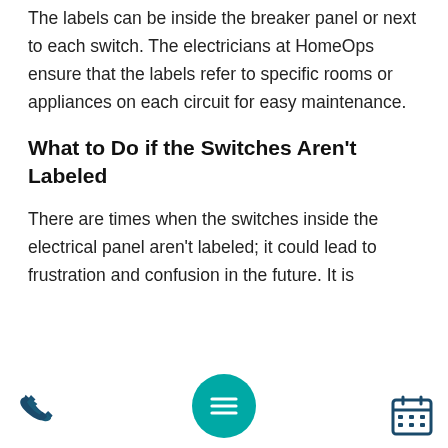The labels can be inside the breaker panel or next to each switch. The electricians at HomeOps ensure that the labels refer to specific rooms or appliances on each circuit for easy maintenance.
What to Do if the Switches Aren't Labeled
There are times when the switches inside the electrical panel aren't labeled; it could lead to frustration and confusion in the future. It is